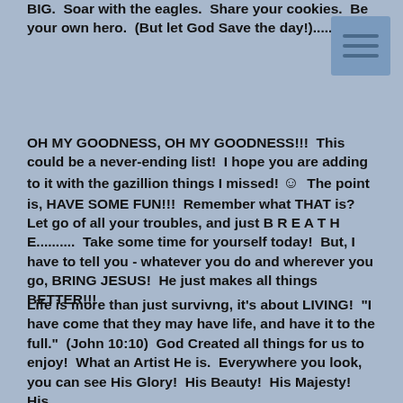BIG.  Soar with the eagles.  Share your cookies.  Be your own hero.  (But let God Save the day!)..........
[Figure (other): Menu/hamburger icon with three horizontal lines on a blue-grey background]
OH MY GOODNESS, OH MY GOODNESS!!!  This could be a never-ending list!  I hope you are adding to it with the gazillion things I missed! 🙂  The point is, HAVE SOME FUN!!!  Remember what THAT is?  Let go of all your troubles, and just B R E A T H E..........  Take some time for yourself today!  But, I have to tell you - whatever you do and wherever you go, BRING JESUS!  He just makes all things BETTER!!!
Life is more than just survivng, it's about LIVING!  "I have come that they may have life, and have it to the full."  (John 10:10)  God Created all things for us to enjoy!  What an Artist He is.  Everywhere you look, you can see His Glory!  His Beauty!  His Majesty!  His